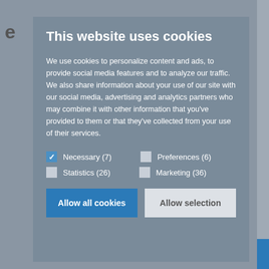This website uses cookies
We use cookies to personalize content and ads, to provide social media features and to analyze our traffic. We also share information about your use of our site with our social media, advertising and analytics partners who may combine it with other information that you’ve provided to them or that they’ve collected from your use of their services.
☑ Necessary (7)
☐ Preferences (6)
☐ Statistics (26)
☐ Marketing (36)
Allow all cookies
Allow selection